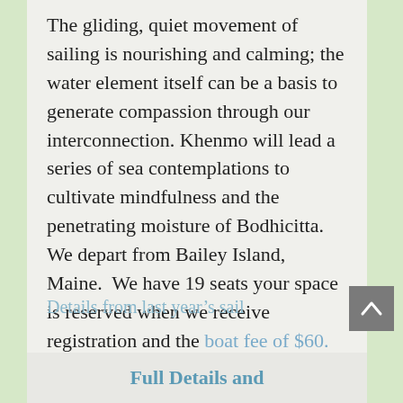The gliding, quiet movement of sailing is nourishing and calming; the water element itself can be a basis to generate compassion through our interconnection. Khenmo will lead a series of sea contemplations to cultivate mindfulness and the penetrating moisture of Bodhicitta. We depart from Bailey Island, Maine.  We have 19 seats your space is reserved when we receive registration and the boat fee of $60.
Details from last year's sail
Full Details and